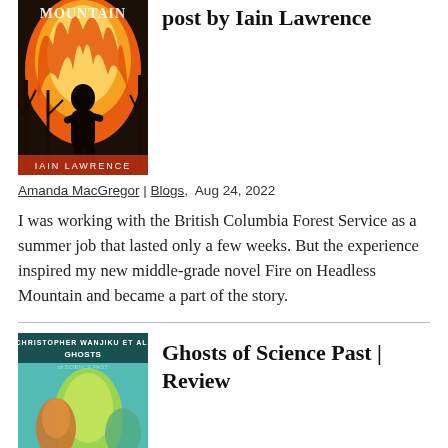[Figure (illustration): Book cover for 'Fire on Headless Mountain' by Iain Lawrence. Shows a dark silhouetted bigfoot-like figure against bright orange and red flames, with bare trees. Title at top in white distressed letters, author name at bottom.]
post by Iain Lawrence
Amanda MacGregor | Blogs,  Aug 24, 2022
I was working with the British Columbia Forest Service as a summer job that lasted only a few weeks. But the experience inspired my new middle-grade novel Fire on Headless Mountain and became a part of the story.
[Figure (illustration): Book cover for 'Ghosts of Science Past'. Shows illustrated figures including ghostly characters in green and yellow tones against a teal background. Title in bold letters at top.]
Ghosts of Science Past | Review